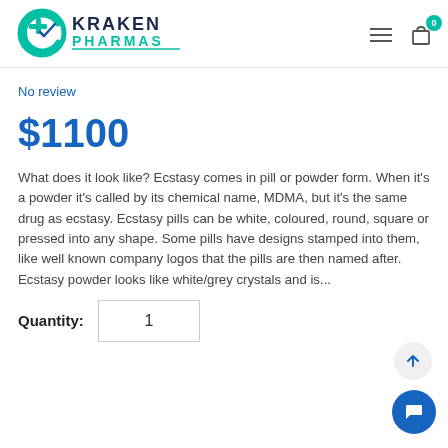[Figure (logo): Kraken Pharmas logo with teal circular icon and cross/pill symbol, company name in dark blue and teal]
No review
$1100
What does it look like? Ecstasy comes in pill or powder form. When it's a powder it's called by its chemical name, MDMA, but it's the same drug as ecstasy. Ecstasy pills can be white, coloured, round, square or pressed into any shape. Some pills have designs stamped into them, like well known company logos that the pills are then named after. Ecstasy powder looks like white/grey crystals and is...
Quantity: 1